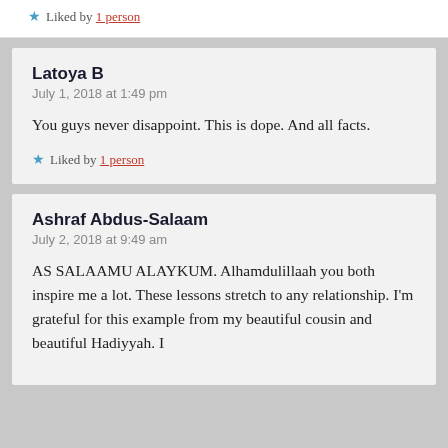★ Liked by 1 person
Latoya B
July 1, 2018 at 1:49 pm
You guys never disappoint. This is dope. And all facts.
★ Liked by 1 person
Ashraf Abdus-Salaam
July 2, 2018 at 9:49 am
AS SALAAMU ALAYKUM. Alhamdulillaah you both inspire me a lot. These lessons stretch to any relationship. I'm grateful for this example from my beautiful cousin and beautiful Hadiyyah. I